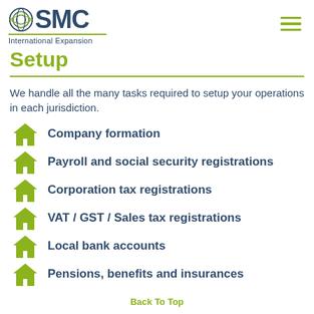[Figure (logo): SMC International Expansion logo with globe icon]
Setup
We handle all the many tasks required to setup your operations in each jurisdiction.
Company formation
Payroll and social security registrations
Corporation tax registrations
VAT / GST / Sales tax registrations
Local bank accounts
Pensions, benefits and insurances
Back To Top